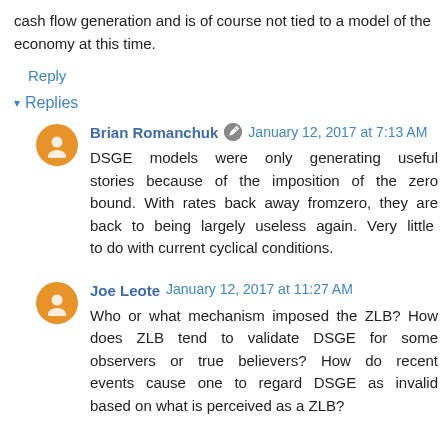cash flow generation and is of course not tied to a model of the economy at this time.
Reply
▾ Replies
Brian Romanchuk [edit icon] January 12, 2017 at 7:13 AM
DSGE models were only generating useful stories because of the imposition of the zero bound. With rates back away fromzero, they are back to being largely useless again. Very little to do with current cyclical conditions.
Joe Leote January 12, 2017 at 11:27 AM
Who or what mechanism imposed the ZLB? How does ZLB tend to validate DSGE for some observers or true believers? How do recent events cause one to regard DSGE as invalid based on what is perceived as a ZLB?